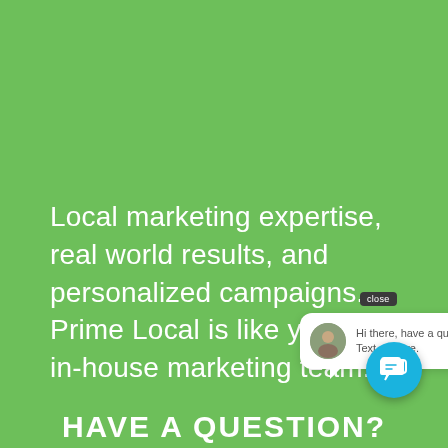Local marketing expertise, real world results, and personalized campaigns. Prime Local is like your own in-house marketing team.
[Figure (screenshot): Chat widget popup showing a close button and a speech bubble with avatar and text: 'Hi there, have a question? Text us here.' with a blue circular chat icon button.]
HAVE A QUESTION?